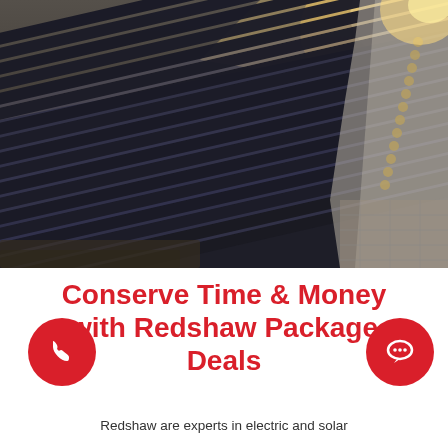[Figure (photo): Close-up photo of solar thermal vacuum tube collectors on a rooftop, with sunlight glowing in the upper right corner. Rows of dark cylindrical tubes arranged diagonally with metal fittings visible on the right side.]
Conserve Time & Money with Redshaw Package Deals
Redshaw are experts in electric and solar